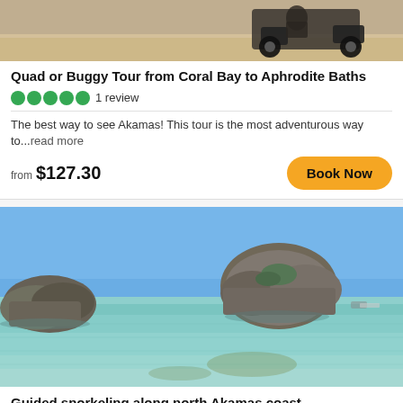[Figure (photo): Partial view of a quad or buggy vehicle on sandy/rocky terrain]
Quad or Buggy Tour from Coral Bay to Aphrodite Baths
1 review
The best way to see Akamas! This tour is the most adventurous way to...read more
from $127.30
Book Now
[Figure (photo): Coastal sea view with rocky outcroppings rising from clear blue-green water near Akamas coast]
Guided snorkeling along north Akamas coast